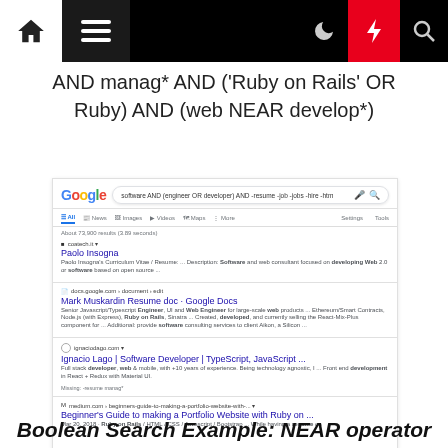Navigation bar with home, menu, moon, lightning, and search icons
AND manag* AND ('Ruby on Rails' OR Ruby) AND (web NEAR develop*)
[Figure (screenshot): Google search results screenshot showing a search for 'software AND (engineer OR developer) AND -resume -job -jobs -hire -htm' with results including Paolo Insogna (coatech.it), Mark Muskardin Resume doc on Google Docs, Ignacio Lago | Software Developer | TypeScript JavaScript, and Beginner's Guide to making a Portfolio Website with Ruby on...]
Boolean Search Example: NEAR operator